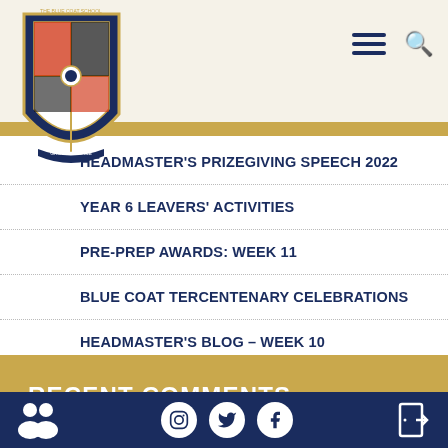[Figure (logo): Blue Coat School crest/shield logo with eagle and cross motifs]
HEADMASTER'S PRIZEGIVING SPEECH 2022
YEAR 6 LEAVERS' ACTIVITIES
PRE-PREP AWARDS: WEEK 11
BLUE COAT TERCENTENARY CELEBRATIONS
HEADMASTER'S BLOG – WEEK 10
RECENT COMMENTS
[Figure (infographic): Footer with school community icon, social media icons (Instagram, Twitter, Facebook), and login/door icon on dark navy background]